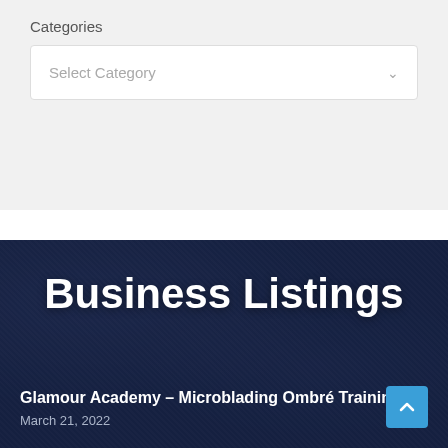Categories
[Figure (screenshot): Dropdown selector UI element with 'Select Category' placeholder text and a chevron arrow]
Business Listings
Glamour Academy – Microblading Ombré Training
March 21, 2022